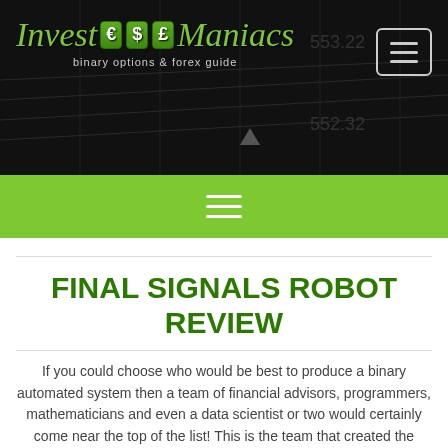Invest € $ £ Maniacs — binary options & forex guide
[Figure (logo): Invest Maniacs logo with currency symbols in green boxes on dark background with financial chart]
[Figure (infographic): Green navigation bar with hamburger menu icon (three white lines)]
FINAL SIGNALS ROBOT REVIEW
If you could choose who would be best to produce a binary automated system then a team of financial advisors, programmers, mathematicians and even a data scientist or two would certainly come near the top of the list! This is the team that created the Final Signals Robot. Supposedly the Final